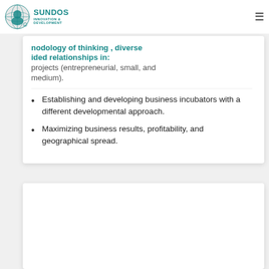SUNDOS INNOVATION & DEVELOPMENT
nodology of thinking , diverse ided relationships in: projects (entrepreneurial, small, and medium).
Establishing and developing business incubators with a different developmental approach.
Maximizing business results, profitability, and geographical spread.
[Figure (other): Second card section, mostly blank/white, partially visible at bottom of page]